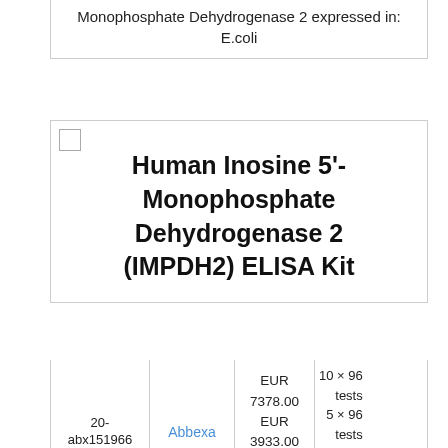Monophosphate Dehydrogenase 2 expressed in: E.coli
Human Inosine 5'-Monophosphate Dehydrogenase 2 (IMPDH2) ELISA Kit
| ID | Vendor | Price | Size |
| --- | --- | --- | --- |
| 20-abx151966 | Abbexa | EUR 7378.00
EUR 3933.00
EUR 911.00 | 10 × 96 tests
5 × 96 tests
96 tests |